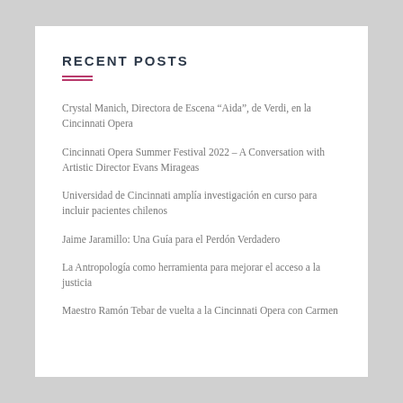RECENT POSTS
Crystal Manich, Directora de Escena “Aida”, de Verdi, en la Cincinnati Opera
Cincinnati Opera Summer Festival 2022 – A Conversation with Artistic Director Evans Mirageas
Universidad de Cincinnati amplía investigación en curso para incluir pacientes chilenos
Jaime Jaramillo: Una Guía para el Perdón Verdadero
La Antropología como herramienta para mejorar el acceso a la justicia
Maestro Ramón Tebar de vuelta a la Cincinnati Opera con Carmen